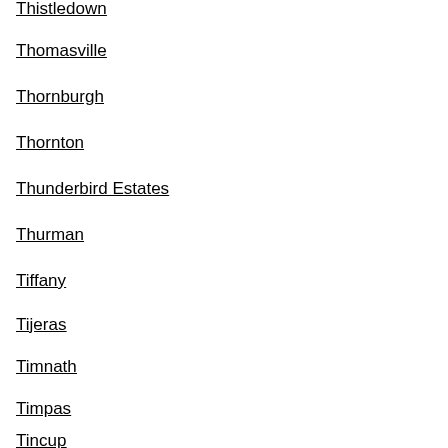Thistledown
Thomasville
Thornburgh
Thornton
Thunderbird Estates
Thurman
Tiffany
Tijeras
Timnath
Timpas
Tincup